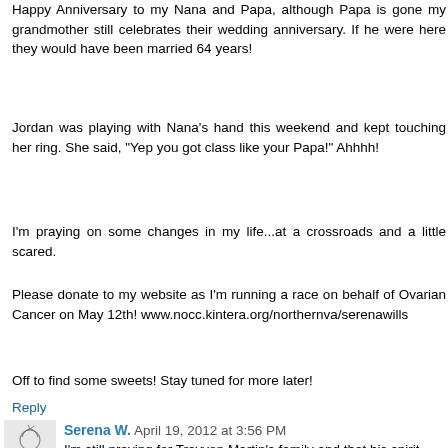Happy Anniversary to my Nana and Papa, although Papa is gone my grandmother still celebrates their wedding anniversary. If he were here they would have been married 64 years!
Jordan was playing with Nana's hand this weekend and kept touching her ring. She said, "Yep you got class like your Papa!" Ahhhh!
I'm praying on some changes in my life...at a crossroads and a little scared.
Please donate to my website as I'm running a race on behalf of Ovarian Cancer on May 12th! www.nocc.kintera.org/northernva/serenawills
Off to find some sweets! Stay tuned for more later!
Reply
Serena W.  April 19, 2012 at 3:56 PM
I'm still praying for Trayvon Martin's family and that his spirit